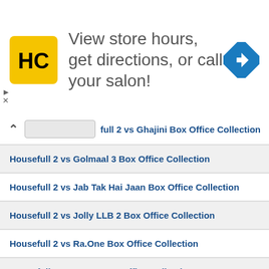[Figure (illustration): Advertisement banner: HC salon logo (yellow square with HC text), text 'View store hours, get directions, or call your salon!', blue diamond navigation icon on right]
full 2 vs Ghajini Box Office Collection
Housefull 2 vs Golmaal 3 Box Office Collection
Housefull 2 vs Jab Tak Hai Jaan Box Office Collection
Housefull 2 vs Jolly LLB 2 Box Office Collection
Housefull 2 vs Ra.One Box Office Collection
Housefull 2 vs Raees Box Office Collection
Housefull 2 vs Ready Box Office Collection
Housefull 2 vs Rowdy Rathore Box Office Collection